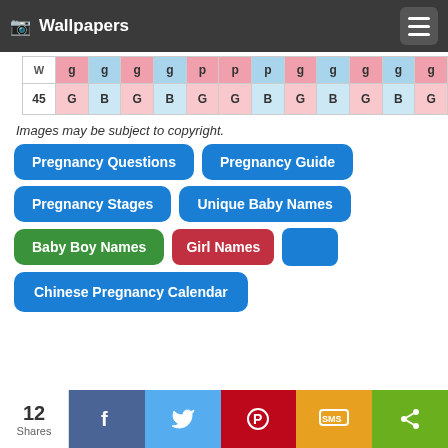Wallpapers
[Figure (table-as-image): Chinese pregnancy calendar table snippet showing row 45 with alternating G and B cells]
Images may be subject to copyright.
Pregnancy Questions
Pregnancy Guide
Pregnancy Stages
Unique Baby Names
Baby Boy Names
Girl Names
Chinese Pregnancy Calendar
12 Shares — Share buttons: Facebook, Twitter, Pinterest, SMS, More